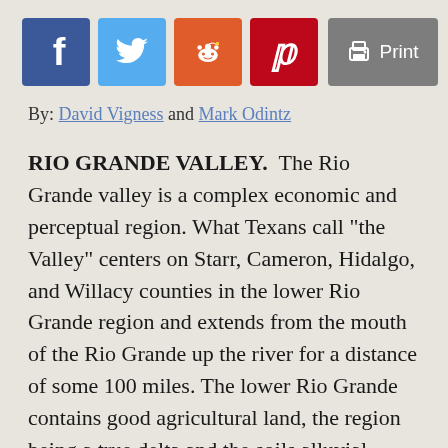[Figure (other): Social media sharing buttons: Facebook (blue), Twitter (light blue), Reddit (orange-red), Pinterest (dark red), and a Print button (gray) arranged horizontally]
By: David Vigness and Mark Odintz
RIO GRANDE VALLEY.  The Rio Grande valley is a complex economic and perceptual region. What Texans call "the Valley" centers on Starr, Cameron, Hidalgo, and Willacy counties in the lower Rio Grande region and extends from the mouth of the Rio Grande up the river for a distance of some 100 miles. The lower Rio Grande contains good agricultural land, the region being a true delta and the soils alluvial, varying from sandy and silty loam through loam to clay. The area of about 4,316 square miles witnessed a